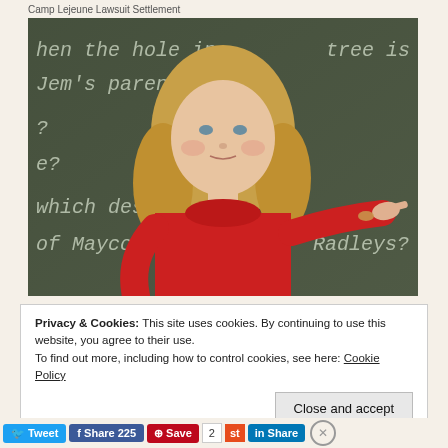Camp Lejeune Lawsuit Settlement
[Figure (photo): A blonde woman in a red turtleneck top stands in front of a chalkboard, pointing to her right. The chalkboard has handwritten text including partial phrases: 'hen the hole in... tree is fille', 'Jem's parents', 'which des', 'of Maycom... Radleys?']
Privacy & Cookies: This site uses cookies. By continuing to use this website, you agree to their use.
To find out more, including how to control cookies, see here: Cookie Policy
Close and accept
Tweet | Share 225 | Save | 2 | st | Share